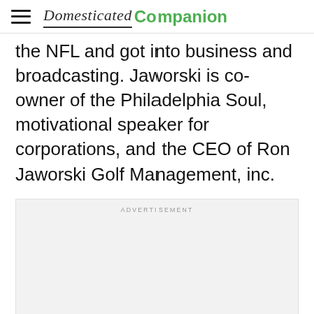Domesticated Companion
the NFL and got into business and broadcasting. Jaworski is co-owner of the Philadelphia Soul, motivational speaker for corporations, and the CEO of Ron Jaworski Golf Management, inc.
[Figure (other): Advertisement placeholder box with 'ADVERTISEMENT' label at top]